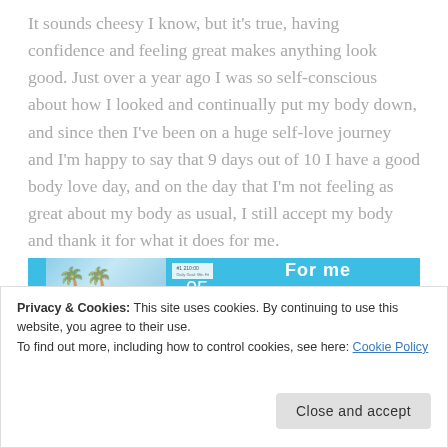It sounds cheesy I know, but it's true, having confidence and feeling great makes anything look good. Just over a year ago I was so self-conscious about how I looked and continually put my body down, and since then I've been on a huge self-love journey and I'm happy to say that 9 days out of 10 I have a good body love day, and on the day that I'm not feeling as great about my body as usual, I still accept my body and thank it for what it does for me.
[Figure (screenshot): App screenshot showing a fitness/wellness app interface with blue background, photo collage with palm trees and food image, 'for me' text, and 'Get the app' button]
Privacy & Cookies: This site uses cookies. By continuing to use this website, you agree to their use.
To find out more, including how to control cookies, see here: Cookie Policy